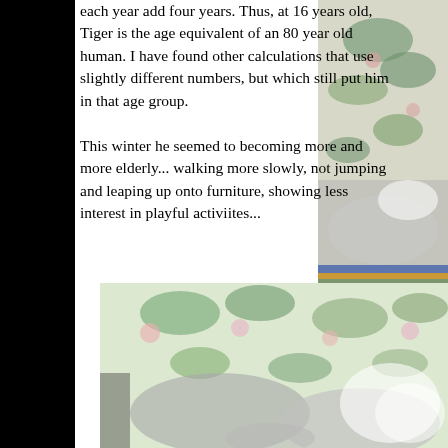each year add four years. Thus, at 16 years old, Tiger is the age equivalent of an 80 year old human. I have found other calculations that use slightly different numbers, but which still put him in that age group.

This winter he seemed to becoming more and more elderly... walking more slowly, not jumping and leaping up onto furniture, showing less interest in playful activiites...
[Figure (photo): Photo of a cat lying on a floral patterned surface, top right portion of page]
[Figure (photo): Photo of a cat lying on a floral patterned surface, bottom of page]